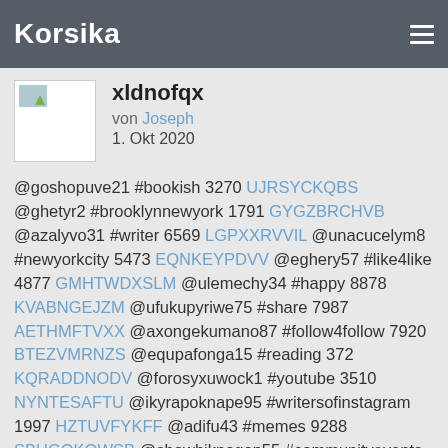Korsika
xldnofqx
von Joseph
1. Okt 2020
@goshopuve21 #bookish 3270 UJRSYCKQBS @ghetyr2 #brooklynnewyork 1791 GYGZBRCHVB @azalyvo31 #writer 6569 LGPXXRVVIL @unacucelym8 #newyorkcity 5473 EQNKEYPDVV @eghery57 #like4like 4877 GMHTWDXSLM @ulemechy34 #happy 8878 KVABNGEJZM @ufukupyriwe75 #share 7987 AETHMFTVXX @axongekumano87 #follow4follow 7920 BTEZVMRNZS @equpafonga15 #reading 372 KQRADDNODV @forosyxuwock1 #youtube 3510 NYNTESAFTU @ikyrapoknape95 #writersofinstagram 1997 HZTUVFYKFF @adifu43 #memes 9288 SBUGQKOWSB @showhiknogop55 #communityevents 9836 RHKYPKUGLU @ungevadyfy19 #followme 9932 TERCOORRCU @jumonogi74 #art 6181